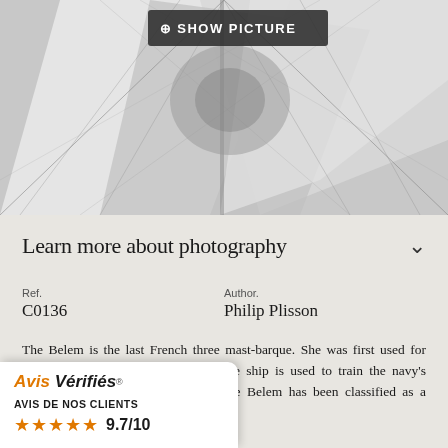[Figure (photo): Black and white photograph of a tall ship's sails and rigging, showing the Belem sailing vessel with billowing sails and rope rigging against a light sky. A 'SHOW PICTURE' button overlay is visible at the top.]
Learn more about photography
Ref.
C0136
Author.
Philip Plisson
The Belem is the last French three mast-barque. She was first used for trade with the West Indies. Today the ship is used to train the navy's sailors and offers sailing courses. The Belem has been classified as a Historical Monument since 1984.
cal canvas picture, the boat is lls out! A yachting portrait that will lovers.
[Figure (logo): Avis Vérifiés verified reviews widget showing logo, 'AVIS DE NOS CLIENTS' label, 5 orange stars, and a score of 9.7/10]